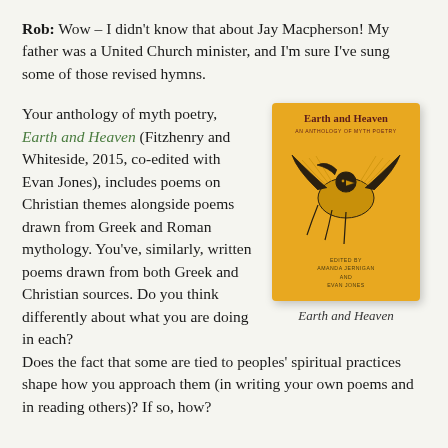Rob: Wow – I didn't know that about Jay Macpherson! My father was a United Church minister, and I'm sure I've sung some of those revised hymns.
Your anthology of myth poetry, Earth and Heaven (Fitzhenry and Whiteside, 2015, co-edited with Evan Jones), includes poems on Christian themes alongside poems drawn from Greek and Roman mythology. You've, similarly, written poems drawn from both Greek and Christian sources. Do you think differently about what you are doing in each? Does the fact that some are tied to peoples' spiritual practices shape how you approach them (in writing your own poems and in reading others)? If so, how?
[Figure (photo): Book cover of 'Earth and Heaven: An Anthology of Myth Poetry', edited by Amanda Jernigan and Evan Jones, published by Fitzhenry and Whiteside 2015. Yellow/golden cover with illustration of birds.]
Earth and Heaven